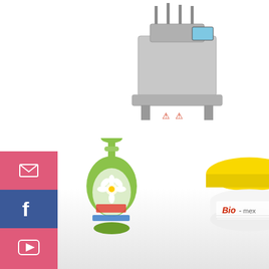[Figure (screenshot): Screenshot of a Chinese industrial filling machine product page with social media sidebar (email, Facebook, YouTube, Pinterest), product images showing a filling machine, a green soap dispenser bottle, and a yellow Bio-mex cream jar, a partial page title 'hina Industrial Jackfruit Sesame Peanut', a live chat bar in blue, and a chat widget with an avatar of a woman named Cilina and the message 'Hi,welcome to visit our website.']